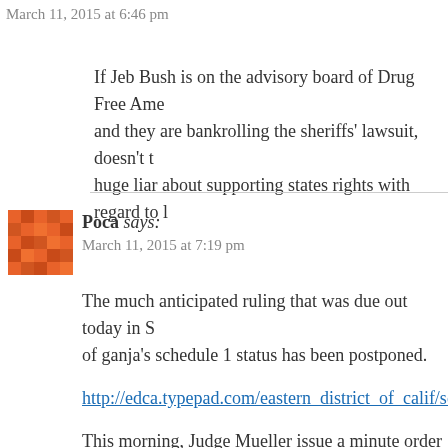March 11, 2015 at 6:46 pm
If Jeb Bush is on the advisory board of Drug Free Ame and they are bankrolling the sheriffs' lawsuit, doesn't t huge liar about supporting states rights with regard to l
Poca says:
March 11, 2015 at 7:19 pm
The much anticipated ruling that was due out today in S of ganja's schedule 1 status has been postponed.
http://edca.typepad.com/eastern_district_of_calif/schw
This morning, Judge Mueller issue a minute order post own in United States v. Schweder from March 11 to M courtroom 3. I'd guess she needs more time to finalize dismiss that challenges (1) the constitutionality of class